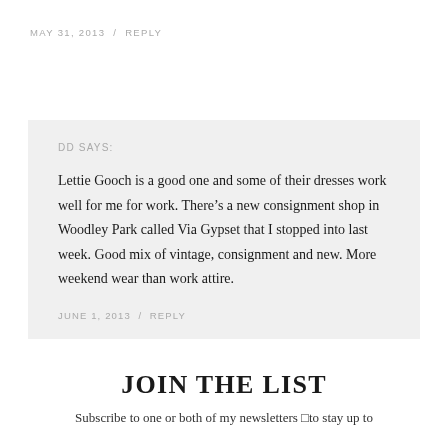MAY 31, 2013  /  REPLY
DD SAYS:
Lettie Gooch is a good one and some of their dresses work well for me for work. There’s a new consignment shop in Woodley Park called Via Gypset that I stopped into last week. Good mix of vintage, consignment and new. More weekend wear than work attire.
JUNE 1, 2013  /  REPLY
JOIN THE LIST
Subscribe to one or both of my newsletters □to stay up to